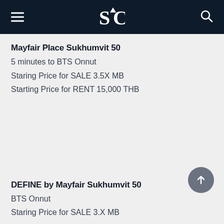SC [logo] — hamburger menu and search icon
Mayfair Place Sukhumvit 50
5 minutes to BTS Onnut
Staring Price for SALE 3.5X MB
Starting Price for RENT 15,000 THB
DEFINE by Mayfair Sukhumvit 50
BTS Onnut
Staring Price for SALE 3.X MB